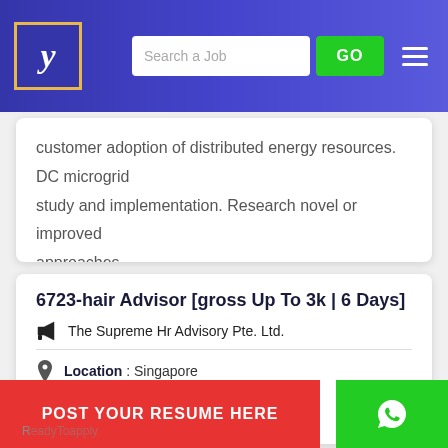Search a Job | GO
customer adoption of distributed energy resources. DC microgrid study and implementation. Research novel or improved approaches...
6723-hair Advisor [gross Up To 3k | 6 Days]
The Supreme Hr Advisory Pte. Ltd.
Location : Singapore
State :
POST YOUR RESUME HERE